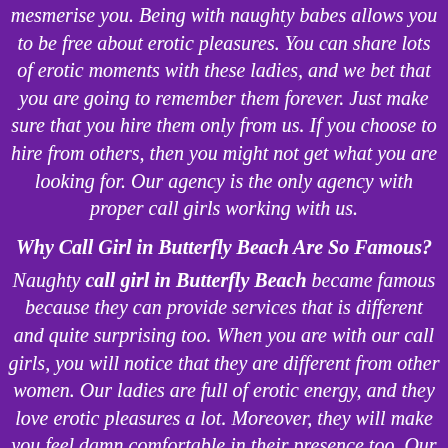mesmerise you. Being with naughty babes allows you to be free about erotic pleasures. You can share lots of erotic moments with these ladies, and we bet that you are going to remember them forever. Just make sure that you hire them only from us. If you choose to hire from others, then you might not get what you are looking for. Our agency is the only agency with proper call girls working with us.
Why Call Girl in Butterfly Beach Are So Famous?
Naughty call girl in Butterfly Beach became famous because they can provide services that is different and quite surprising too. When you are with our call girls, you will notice that they are different from other women. Our ladies are full of erotic energy, and they love erotic pleasures a lot. Moreover, they will make you feel damn comfortable in their presence too. Our agency strives to keep you happy...